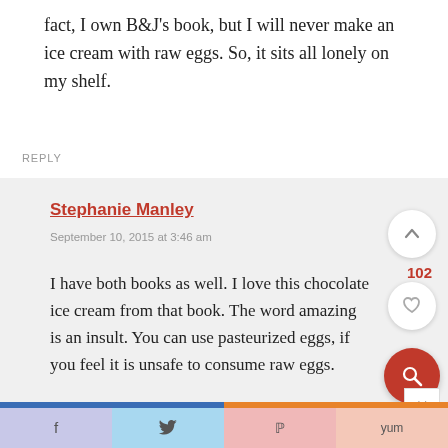fact, I own B&J's book, but I will never make an ice cream with raw eggs. So, it sits all lonely on my shelf.
REPLY
Stephanie Manley
September 10, 2015 at 3:46 am
I have both books as well. I love this chocolate ice cream from that book. The word amazing is an insult. You can use pasteurized eggs, if you feel it is unsafe to consume raw eggs.